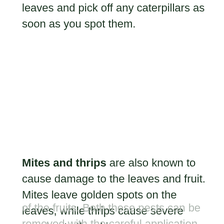leaves and pick off any caterpillars as soon as you spot them.
Mites and thrips are also known to cause damage to the leaves and fruit. Mites leave golden spots on the leaves, while thrips cause severe scarring to the skin of the fruits. Both these pests can be removed with the careful application of horticultural oil.